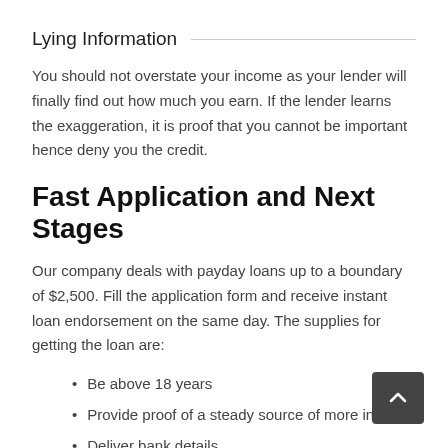Lying Information
You should not overstate your income as your lender will finally find out how much you earn. If the lender learns the exaggeration, it is proof that you cannot be important hence deny you the credit.
Fast Application and Next Stages
Our company deals with payday loans up to a boundary of $2,500. Fill the application form and receive instant loan endorsement on the same day. The supplies for getting the loan are:
Be above 18 years
Provide proof of a steady source of more income
Deliver bank details